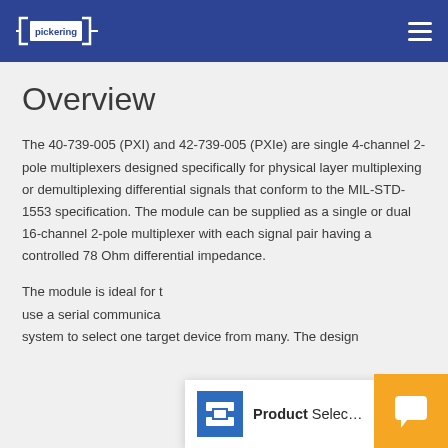Pickering — navigation header
Overview
The 40-739-005 (PXI) and 42-739-005 (PXIe) are single 4-channel 2-pole multiplexers designed specifically for physical layer multiplexing or demultiplexing differential signals that conform to the MIL-STD-1553 specification. The module can be supplied as a single or dual 16-channel 2-pole multiplexer with each signal pair having a controlled 78 Ohm differential impedance.
The module is ideal for t... use a serial communica... system to select one target device from many. The design